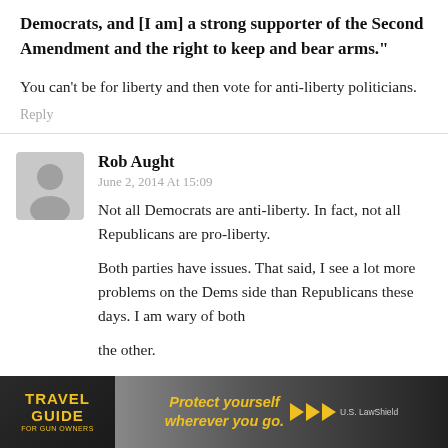Democrats, and [I am] a strong supporter of the Second Amendment and the right to keep and bear arms."
You can't be for liberty and then vote for anti-liberty politicians.
Reply
Rob Aught
June 2, 2014 At 15:09
Not all Democrats are anti-liberty. In fact, not all Republicans are pro-liberty.
Both parties have issues. That said, I see a lot more problems on the Dems side than Republicans these days. I am wary of both the other.
[Figure (screenshot): Travel Guide for Gun Owners advertisement banner with text 'Protect yourself wherever you go.' and arrow play buttons, US LawShield branding]